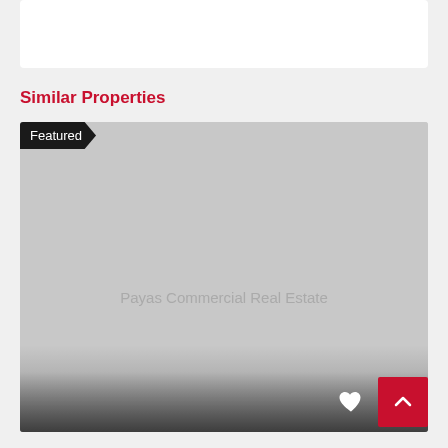Similar Properties
[Figure (screenshot): A property listing card with a gray placeholder image showing 'Payas Commercial Real Estate' watermark text, a black 'Featured' badge in the top-left corner, a white heart icon and red scroll-to-top button at the bottom right.]